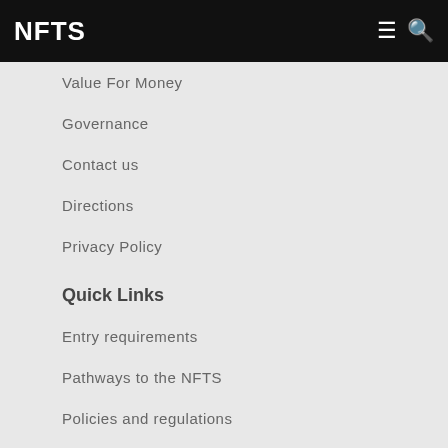NFTS
Value For Money
Governance
Contact us
Directions
Privacy Policy
Quick Links
Entry requirements
Pathways to the NFTS
Policies and regulations
Quality Assurance Handbook